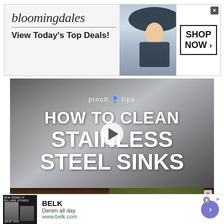[Figure (screenshot): Bloomingdales banner advertisement showing logo, 'View Today's Top Deals!' text, fashion model in hat, and 'SHOP NOW >' button]
[Figure (screenshot): Video thumbnail for 'pinch tips HOW TO CLEAN STAINLESS STEEL SINKS' with play button overlay on metallic background]
[Figure (photo): Close-up photo of a dirty stainless steel sink with food residue and decorative tile visible]
[Figure (screenshot): BELK advertisement: 'Denim all day. www.belk.com' with model photos, blue arrow navigation button, and close/ad-choice icons]